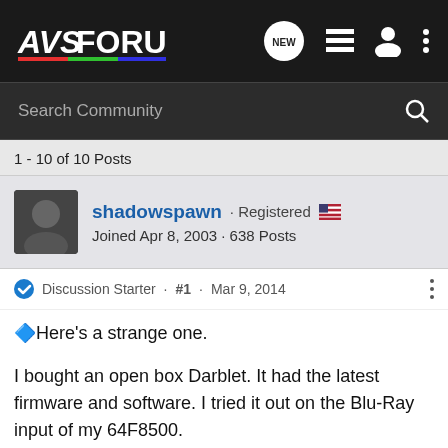[Figure (logo): AVSForum logo with colorful underline and navigation icons on dark background]
Search Community
1 - 10 of 10 Posts
shadowspawn · Registered 🇺🇸
Joined Apr 8, 2003 · 638 Posts
Discussion Starter · #1 · Mar 9, 2014
🔷Here's a strange one.


I bought an open box Darblet. It had the latest firmware and software. I tried it out on the Blu-Ray input of my 64F8500.


I concluded that the Darblet was broken, or had a mismatch